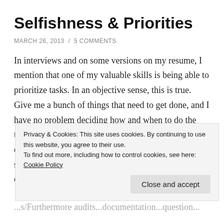Selfishness & Priorities
MARCH 26, 2013  /  5 COMMENTS
In interviews and on some versions on my resume, I mention that one of my valuable skills is being able to prioritize tasks. In an objective sense, this is true. Give me a bunch of things that need to get done, and I have no problem deciding how and when to do the tasks. Four new hire files to audit? Personal development plan that needs revision? Three inch stack of motor vehicle reports to audit? Quality check corrections? Code
Privacy & Cookies: This site uses cookies. By continuing to use this website, you agree to their use.
To find out more, including how to control cookies, see here: Cookie Policy
Close and accept
...s/Furthermoreaudits...documentation...question...